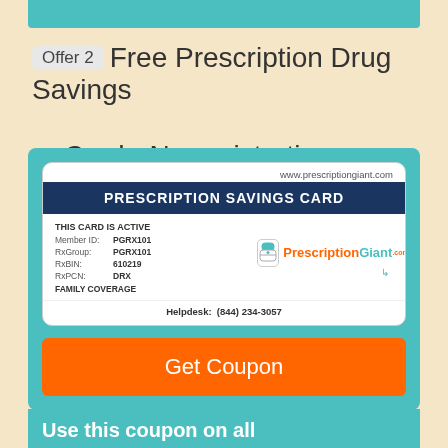[Figure (other): Teal decorative bar at top of page]
Offer 2 Free Prescription Drug Savings Card - No registration required!
[Figure (other): Prescription Savings Card image showing Member ID: PGRX101, RxGroup: PGRX101, RxBIN: 610219, RxPCN: DRX, FAMILY COVERAGE, Helpdesk: (844) 234-3057, www.prescriptiongiant.com, with Get Coupon orange button below]
Use this coupon on all